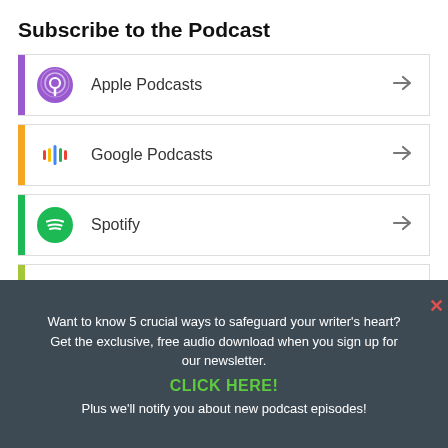Subscribe to the Podcast
Apple Podcasts
Google Podcasts
Spotify
Android
Want to know 5 crucial ways to safeguard your writer's heart? Get the exclusive, free audio download when you sign up for our newsletter.
CLICK HERE!
Plus we'll notify you about new podcast episodes!